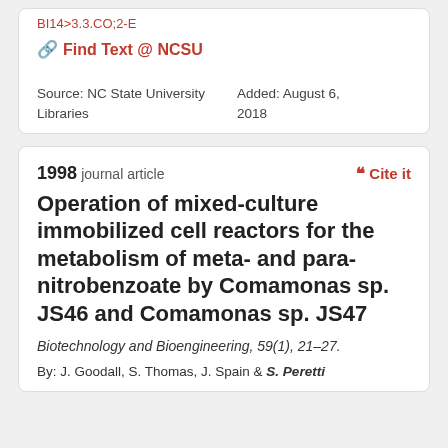BI14>3.3.CO;2-E
🔗 Find Text @ NCSU
Source: NC State University Libraries
Added: August 6, 2018
1998 journal article
❝ Cite it
Operation of mixed-culture immobilized cell reactors for the metabolism of meta- and para-nitrobenzoate by Comamonas sp. JS46 and Comamonas sp. JS47
Biotechnology and Bioengineering, 59(1), 21–27.
By: J. Goodall, S. Thomas, J. Spain & S. Peretti